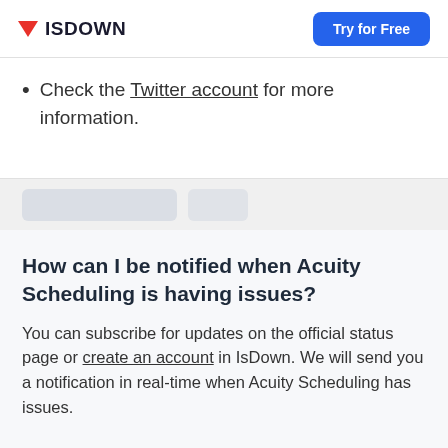ISDOWN | Try for Free
Check the Twitter account for more information.
How can I be notified when Acuity Scheduling is having issues?
You can subscribe for updates on the official status page or create an account in IsDown. We will send you a notification in real-time when Acuity Scheduling has issues.